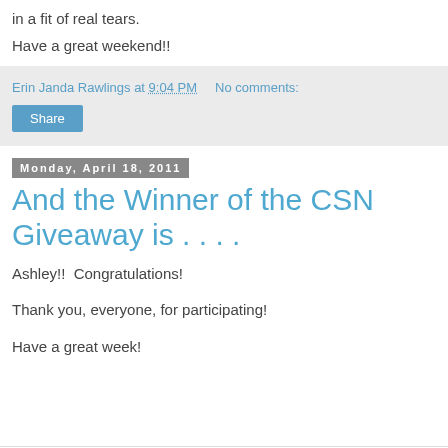in a fit of real tears.
Have a great weekend!!
Erin Janda Rawlings at 9:04 PM    No comments:
Share
Monday, April 18, 2011
And the Winner of the CSN Giveaway is . . . .
Ashley!!  Congratulations!
Thank you, everyone, for participating!
Have a great week!